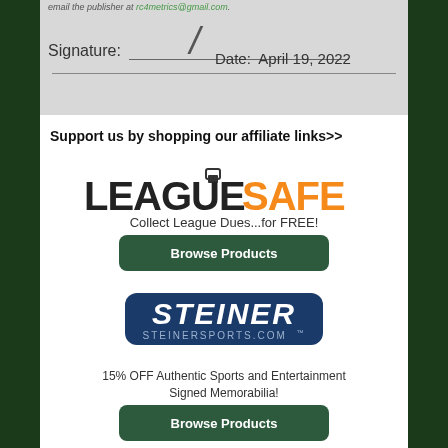email the publisher at rc4metrics@gmail.com.
Signature:     Date: April 19, 2022
Support us by shopping our affiliate links>>
[Figure (logo): LeagueSafe logo — LEAGUE in black bold, SAFE in orange bold, with a padlock icon above the U]
Collect League Dues...for FREE!
Browse Products
[Figure (logo): Steiner Sports logo — STEINER in white italic bold on dark navy rounded rectangle, STEINERSPORTS.COM below in light blue]
15% OFF Authentic Sports and Entertainment Signed Memorabilia!
Browse Products